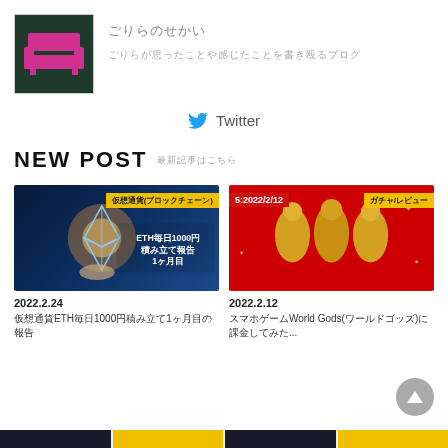[Figure (logo): Pink/magenta pixel art sofa/couch icon on dark green background, inside a white-bordered box]
ごりらのせかい
ごりらが思ったことや感じたことを書き殴るブログ
Twitter
NEW POST　最新記事はこちら
[Figure (photo): Dark blue background with glowing Ethereum diamond crystal logo and a hand reaching up. Yellow badge top right with Japanese text. Text overlay: ETH毎日1000円 積み立て報告 1ヶ月目]
2022.2.24
仮想通貨ETH毎日1000円積み立て1ヶ月目の報告
[Figure (photo): Red background with golden lucky gods statues. Red badge top left showing date 5:2022/2/12. Yellow badge top right with Japanese text.]
2022.2.12
スマホゲームWorld Gods(ワールドゴッズ)に課金してみた...